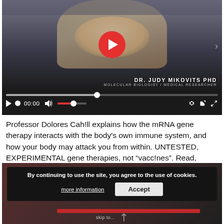[Figure (screenshot): Video player showing Dr. Judy Mikovits PhD, Molecular Biologist / Medical Researcher. The video is paused at 00:00 with a red play button overlay. Controls include play button, progress bar, time display, volume, settings, and fullscreen options.]
Professor Dolores Cahill explains how the mRNA gene therapy interacts with the body's own immune system, and how your body may attack you from within. UNTESTED, EXPERIMENTAL gene therapies, not “vacc!nes”. Read, research, LEARN for your kid’s futures.
[Figure (screenshot): Cookie consent banner: 'By continuing to use the site, you agree to the use of cookies.' with 'more information' and 'Accept' buttons. Below shows partial video player controls with red progress bar and 'skip to...' text.]